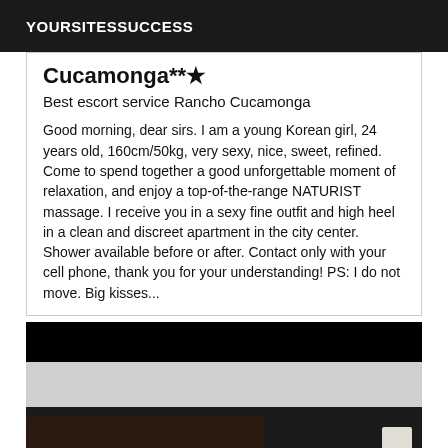YOURSITESSUCCESS
Cucamonga**★
Best escort service Rancho Cucamonga
Good morning, dear sirs. I am a young Korean girl, 24 years old, 160cm/50kg, very sexy, nice, sweet, refined. Come to spend together a good unforgettable moment of relaxation, and enjoy a top-of-the-range NATURIST massage. I receive you in a sexy fine outfit and high heel in a clean and discreet apartment in the city center. Shower available before or after. Contact only with your cell phone, thank you for your understanding! PS: I do not move. Big kisses...
[Figure (photo): Partially visible photograph with dark background, showing partial view of a person. Top portion is black, middle section shows a light grey/white area, bottom shows dark tones with a light element on the right side.]